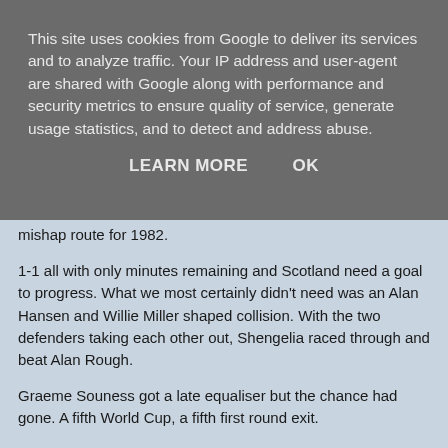This site uses cookies from Google to deliver its services and to analyze traffic. Your IP address and user-agent are shared with Google along with performance and security metrics to ensure quality of service, generate usage statistics, and to detect and address abuse.
LEARN MORE   OK
mishap route for 1982.
1-1 all with only minutes remaining and Scotland need a goal to progress. What we most certainly didn't need was an Alan Hansen and Willie Miller shaped collision. With the two defenders taking each other out, Shengelia raced through and beat Alan Rough.
Graeme Souness got a late equaliser but the chance had gone. A fifth World Cup, a fifth first round exit.
Crap as we are at this World Cup malarkey we are at least inventive in plotting the path to our elimination. Scotland fans are like a hapless bloke who keeps going back to the same